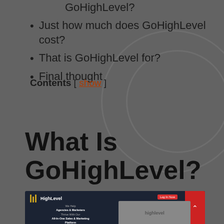Just how much does GoHighLevel cost?
That is GoHighLevel for?
Final thought
Contents [ show ]
What Is GoHighLevel?
[Figure (screenshot): HighLevel website screenshot showing dark navy background with HighLevel logo, 'Log In Now' red button, 'We Help Agencies & Marketers Thrive With Our All-In-One Sales & Marketing Platform' headline, and partial highlevel branding image on the right]